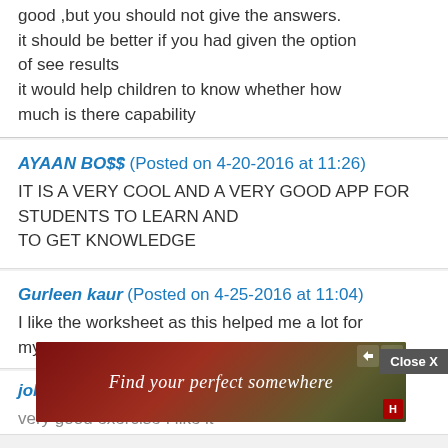good ,but you should not give the answers.
it should be better if you had given the option of see results
it would help children to know whether how much is there capability
AYAAN BO$$ (Posted on 4-20-2016 at 11:26)
IT IS A VERY COOL AND A VERY GOOD APP FOR STUDENTS TO LEARN AND
TO GET KNOWLEDGE
Gurleen kaur (Posted on 4-25-2016 at 11:04)
I like the worksheet as this helped me a lot for my paper
joh (Posted on ...)
very good exercise I like it
[Figure (screenshot): Advertisement banner: dark red/brown background with text 'Find your perfect somewhere', small hotel icon at bottom right, close and skip icons at top right. Overlaid by a 'Close X' button in grey.]